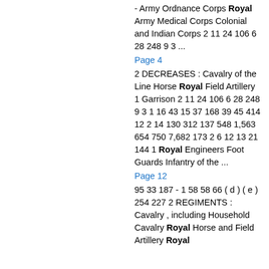- Army Ordnance Corps Royal Army Medical Corps Colonial and Indian Corps 2 11 24 106 6 28 248 9 3 ...
Page 4
2 DECREASES : Cavalry of the Line Horse Royal Field Artillery 1 Garrison 2 11 24 106 6 28 248 9 3 1 16 43 15 37 168 39 45 414 12 2 14 130 312 137 548 1,563 654 750 7,682 173 2 6 12 13 21 144 1 Royal Engineers Foot Guards Infantry of the ...
Page 12
95 33 187 - 1 58 58 66 ( d ) ( e ) 254 227 2 REGIMENTS : Cavalry , including Household Cavalry Royal Horse and Field Artillery Royal